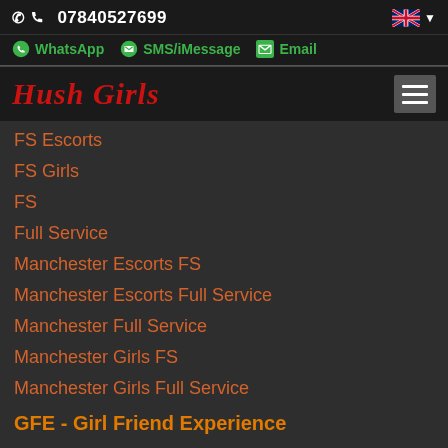07840527699
WhatsApp  SMS/iMessage  Email
Hush Girls
FS Escorts
FS Girls
FS
Full Service
Manchester Escorts FS
Manchester Escorts Full Service
Manchester Full Service
Manchester Girls FS
Manchester Girls Full Service
GFE - Girl Friend Experience